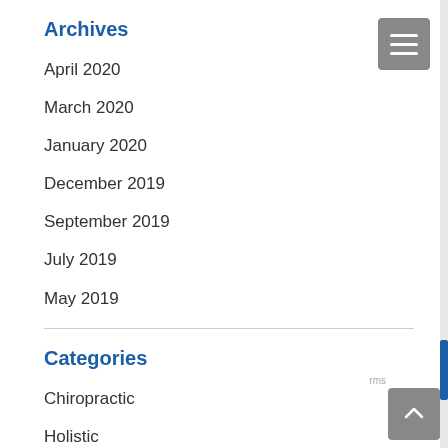Archives
April 2020
March 2020
January 2020
December 2019
September 2019
July 2019
May 2019
Categories
Chiropractic
Holistic
Nutrition